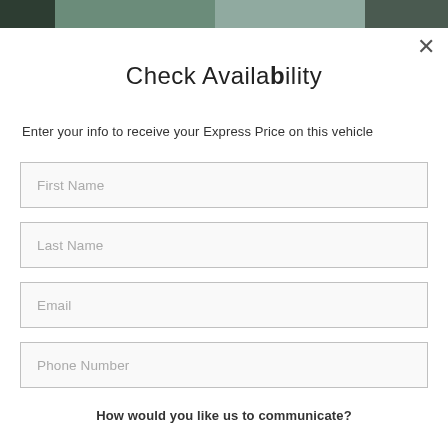[Figure (photo): Top portion of a vehicle page showing a car image background, partially visible at the top of the modal dialog]
Check Availability
Enter your info to receive your Express Price on this vehicle
First Name
Last Name
Email
Phone Number
How would you like us to communicate?